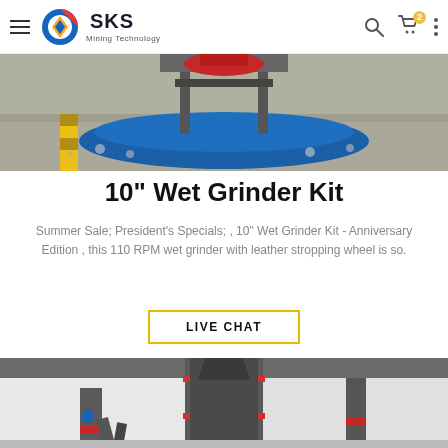SKS Mining Technology
[Figure (photo): Top partial view of a wet grinder machine with blue circular base and gravel/stones on industrial floor]
10" Wet Grinder Kit
Summer Sale; President's Specials; , 10" Wet Grinder Kit - Anniversary Edition , this 110 RPM wet grinder with leather stropping wheel is so.
LIVE CHAT
[Figure (photo): Industrial vertical grinding mill machine (grey with red bands) inside a factory/industrial building]